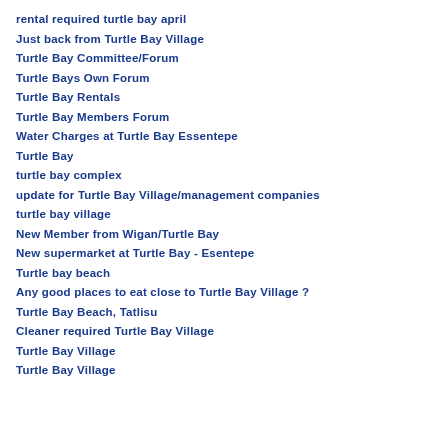rental required turtle bay april
Just back from Turtle Bay Village
Turtle Bay Committee/Forum
Turtle Bays Own Forum
Turtle Bay Rentals
Turtle Bay Members Forum
Water Charges at Turtle Bay Essentepe
Turtle Bay
turtle bay complex
update for Turtle Bay Village/management companies
turtle bay village
New Member from Wigan/Turtle Bay
New supermarket at Turtle Bay - Esentepe
Turtle bay beach
Any good places to eat close to Turtle Bay Village ?
Turtle Bay Beach, Tatlisu
Cleaner required Turtle Bay Village
Turtle Bay Village
Turtle Bay Village